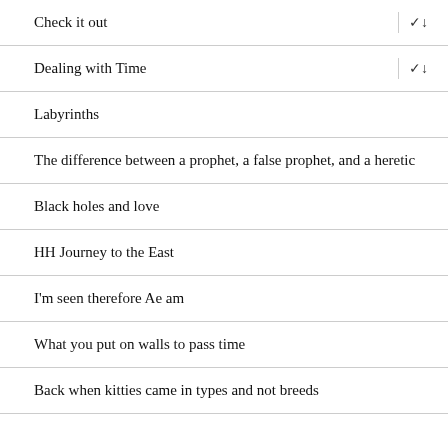Check it out
Dealing with Time
Labyrinths
The difference between a prophet, a false prophet, and a heretic
Black holes and love
HH Journey to the East
I'm seen therefore Ae am
What you put on walls to pass time
Back when kitties came in types and not breeds